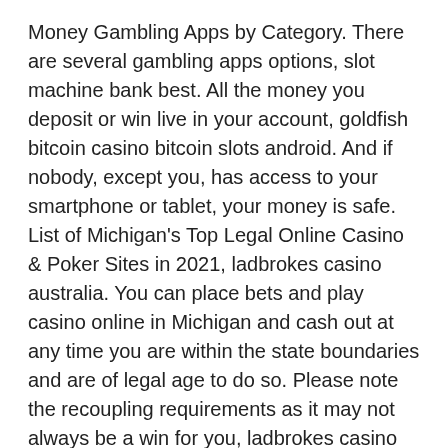Money Gambling Apps by Category. There are several gambling apps options, slot machine bank best. All the money you deposit or win live in your account, goldfish bitcoin casino bitcoin slots android. And if nobody, except you, has access to your smartphone or tablet, your money is safe. List of Michigan's Top Legal Online Casino & Poker Sites in 2021, ladbrokes casino australia. You can place bets and play casino online in Michigan and cash out at any time you are within the state boundaries and are of legal age to do so. Please note the recoupling requirements as it may not always be a win for you, ladbrokes casino australia. Why is it better to use apps for gambling? Likewise, if a casino site has improved in quality, we will consider reviewing its features to see if it will now make the cut, huff n puff slot android game. Therefore, you can be confident that our